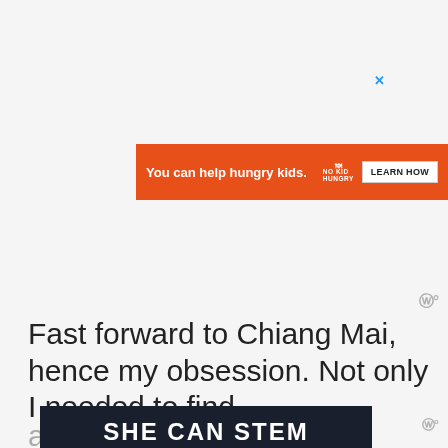[Figure (other): Orange advertisement banner: 'You can help hungry kids.' with No Kid Hungry logo and 'LEARN HOW' button]
Fast forward to Chiang Mai, hence my obsession. Not only I needed to find a
[Figure (other): Dark banner with bold white text: 'SHE CAN STEM']